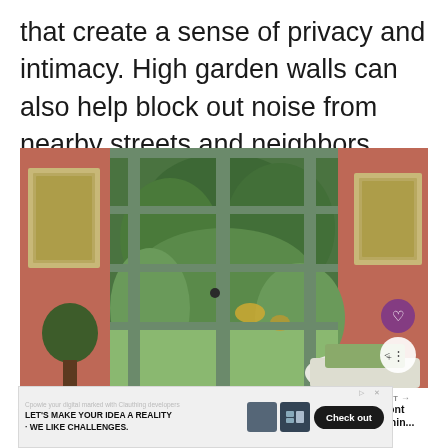that create a sense of privacy and intimacy. High garden walls can also help block out noise from nearby streets and neighbors.
[Figure (photo): Interior room with tall green French doors/windows open to a lush garden outside. Rose-terracotta colored walls with framed botanical prints on either side. A white cushioned chair is visible. Heart and share icon buttons overlay the photo.]
In this unique design, actual walls and a do[or define] the walls and entry of this garden room. The [...]
[Figure (other): What's Next thumbnail: Purple Front Door Meanin...]
[Figure (other): Advertisement banner: LET'S MAKE YOUR IDEA A REALITY · WE LIKE CHALLENGES. Check out button.]